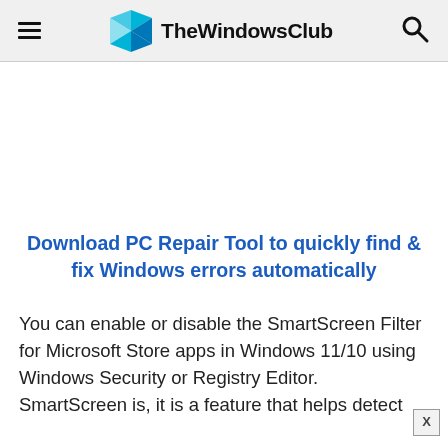TheWindowsClub
[Figure (illustration): Advertisement/blank white space area]
Download PC Repair Tool to quickly find & fix Windows errors automatically
You can enable or disable the SmartScreen Filter for Microsoft Store apps in Windows 11/10 using Windows Security or Registry Editor. SmartScreen is, it is a feature that helps detect